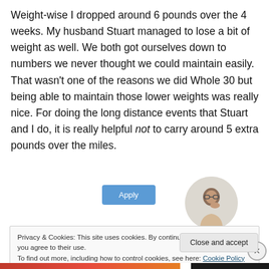Weight-wise I dropped around 6 pounds over the 4 weeks. My husband Stuart managed to lose a bit of weight as well. We both got ourselves down to numbers we never thought we could maintain easily. That wasn't one of the reasons we did Whole 30 but being able to maintain those lower weights was really nice. For doing the long distance events that Stuart and I do, it is really helpful not to carry around 5 extra pounds over the miles.
[Figure (screenshot): Cookie consent banner overlay with Apply button and avatar photo above it, plus a Close and accept button]